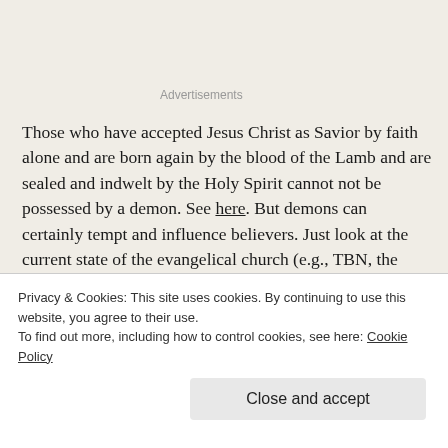Advertisements
Those who have accepted Jesus Christ as Savior by faith alone and are born again by the blood of the Lamb and are sealed and indwelt by the Holy Spirit cannot not be possessed by a demon. See here. But demons can certainly tempt and influence believers. Just look at the current state of the evangelical church (e.g., TBN, the prosperity gospel, doctrine-lite seeker mega-churches). We must be constantly on guard and fighting the good fight of faith through the power of the Lord and His Word.
Privacy & Cookies: This site uses cookies. By continuing to use this website, you agree to their use.
To find out more, including how to control cookies, see here: Cookie Policy
Close and accept